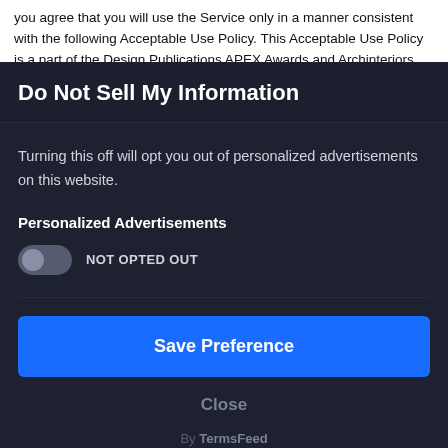you agree that you will use the Service only in a manner consistent with the following Acceptable Use Policy. This Acceptable Use Policy is a part of the Design Publications APEX Awards and Archinteriors Terms of
Do Not Sell My Information
Turning this off will opt you out of personalized advertisements on this website.
Personalized Advertisements
NOT OPTED OUT
Save Preference
Close
By TermsFeed